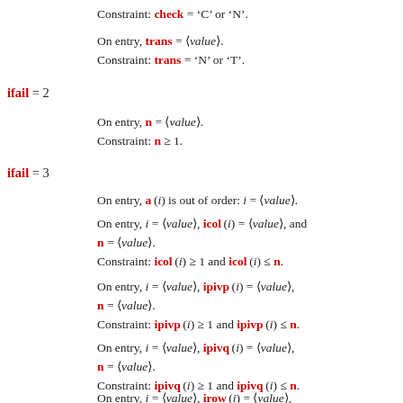Constraint: check = 'C' or 'N'.
On entry, trans = ⟨value⟩.
Constraint: trans = 'N' or 'T'.
ifail = 2
On entry, n = ⟨value⟩.
Constraint: n ≥ 1.
ifail = 3
On entry, a(i) is out of order: i = ⟨value⟩.
On entry, i = ⟨value⟩, icol(i) = ⟨value⟩, and n = ⟨value⟩.
Constraint: icol(i) ≥ 1 and icol(i) ≤ n.
On entry, i = ⟨value⟩, ipivp(i) = ⟨value⟩, n = ⟨value⟩.
Constraint: ipivp(i) ≥ 1 and ipivp(i) ≤ n.
On entry, i = ⟨value⟩, ipivq(i) = ⟨value⟩, n = ⟨value⟩.
Constraint: ipivq(i) ≥ 1 and ipivq(i) ≤ n.
On entry, i = ⟨value⟩, irow(i) = ⟨value⟩,